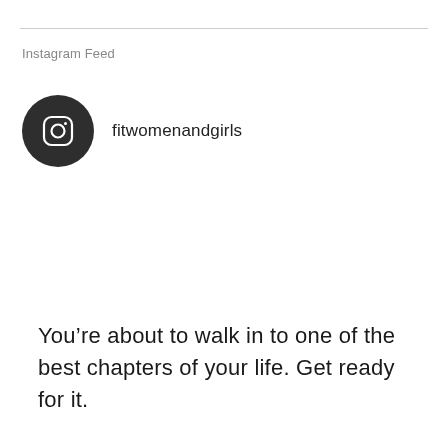Instagram Feed
[Figure (logo): Dark circular Instagram logo icon with camera outline in white]
fitwomenandgirls
You’re about to walk in to one of the best chapters of your life. Get ready for it.